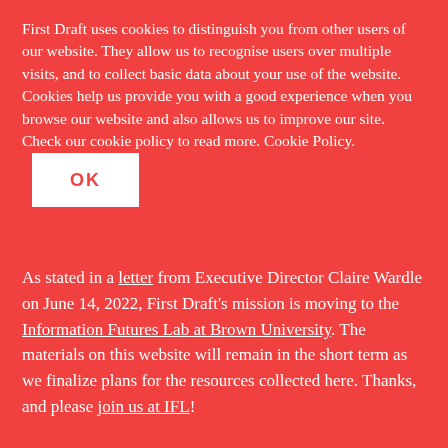First Draft uses cookies to distinguish you from other users of our website. They allow us to recognise users over multiple visits, and to collect basic data about your use of the website. Cookies help us provide you with a good experience when you browse our website and also allows us to improve our site. Check our cookie policy to read more. Cookie Policy. OK
As stated in a letter from Executive Director Claire Wardle on June 14, 2022, First Draft's mission is moving to the Information Futures Lab at Brown University. The materials on this website will remain in the short term as we finalize plans for the resources collected here. Thanks, and please join us at IFL!